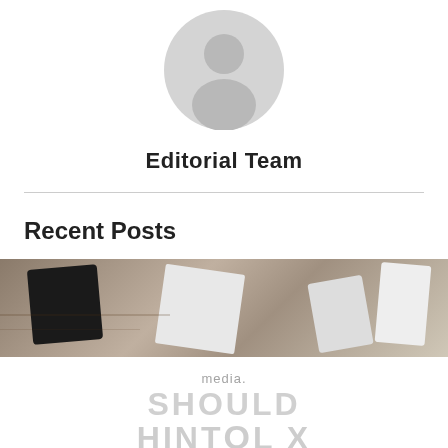[Figure (illustration): Generic grey avatar/silhouette icon of a person, centered at the top of the page]
Editorial Team
[Figure (photo): Workspace/desk photo showing tablets, papers, phones, and documents spread out on a wooden surface. Below the photo is a partially visible overlaid card with text reading 'Should media... Hintox X' with faded lettering and an X mark, on a white/light background.]